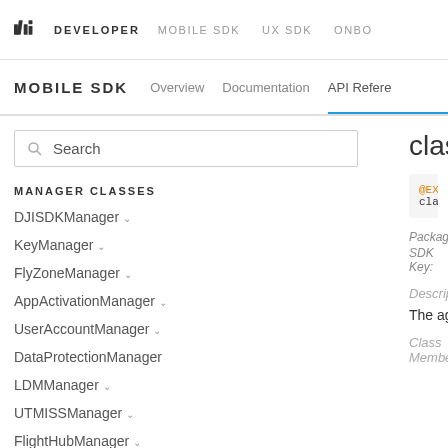DJI DEVELOPER   MOBILE SDK   UX SDK   ONBO...
MOBILE SDK   Overview   Documentation   API Reference
Search
MANAGER CLASSES
DJISDKManager ∨
KeyManager ∨
FlyZoneManager ∨
AppActivationManager ∨
UserAccountManager ∨
DataProtectionManager
LDMManager ∨
UTMISSManager ∨
FlightHubManager ∨
class Th...
@EXClassN...
class Th...
Package:
SDK Key:
Description:
The aggregate...
Class Member...